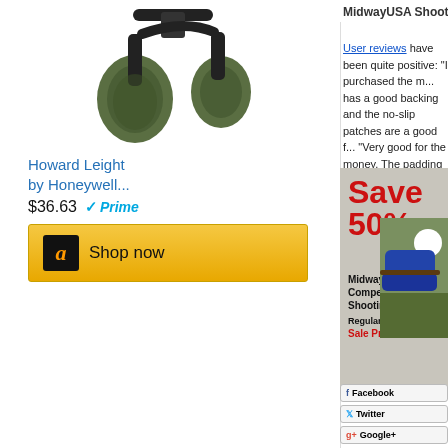[Figure (photo): Howard Leight by Honeywell electronic hearing protection ear muffs in olive/green color]
Howard Leight by Honeywell...
$36.63  Prime
Shop now
MidwayUSA Shooting Mat with Grommets -- Jus
User reviews have been quite positive: "I purchased the m... has a good backing and the no-slip patches are a good f... "Very good for the money. The padding could have been... convenient and comfortable." — G. Jordan.
[Figure (photo): MidwayUSA advertisement showing Save 50% on Competition Shooting Mat. Regular Price $49.99, Sale Price $24.99. Shows person shooting prone position on mat.]
Facebook  Twitter  Google+